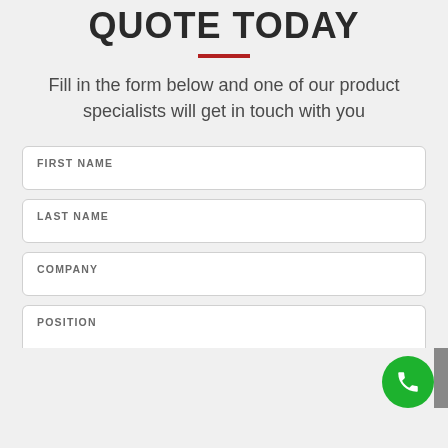QUOTE TODAY
Fill in the form below and one of our product specialists will get in touch with you
FIRST NAME
LAST NAME
COMPANY
POSITION